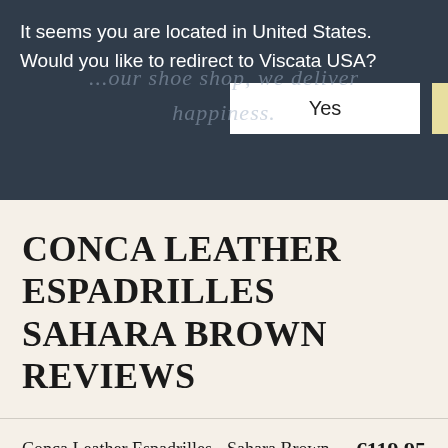It seems you are located in United States. Would you like to redirect to Viscata USA?
[Figure (screenshot): Modal dialog overlay with Yes and No buttons on a dark navy background, partially obscuring a website header]
CONCA LEATHER ESPADRILLES SAHARA BROWN REVIEWS
Conca Leather Espadrilles - Sahara Brown   €119,95
CHOOSE SIZE
SOLD OUT